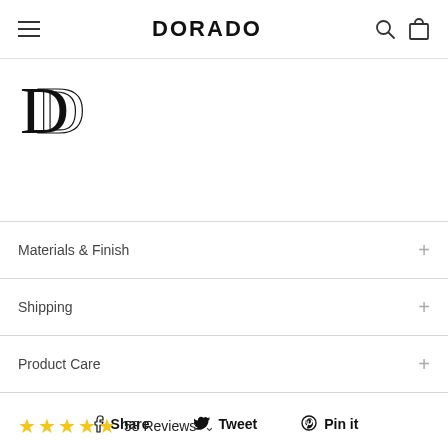DORADO
[Figure (logo): Dorado brand logo — stylized letter D in serif outline style]
Materials & Finish
Shipping
Product Care
Share  Tweet  Pin it
58 Reviews